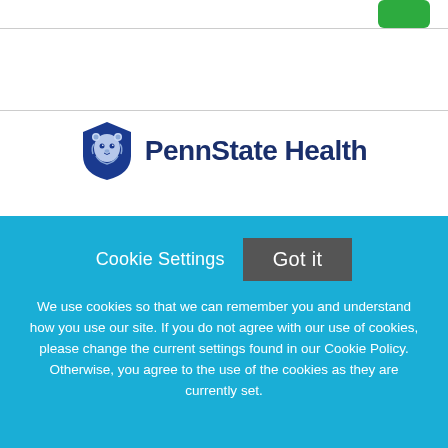[Figure (logo): Penn State Health logo with shield/lion mascot and text 'PennState Health' in navy blue]
Radiology Technologist General - Diagnostics Imaging
Penn State Health
Cookie Settings   Got it
We use cookies so that we can remember you and understand how you use our site. If you do not agree with our use of cookies, please change the current settings found in our Cookie Policy. Otherwise, you agree to the use of the cookies as they are currently set.